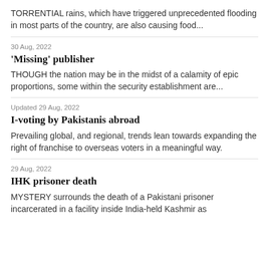TORRENTIAL rains, which have triggered unprecedented flooding in most parts of the country, are also causing food...
30 Aug, 2022
'Missing' publisher
THOUGH the nation may be in the midst of a calamity of epic proportions, some within the security establishment are...
Updated 29 Aug, 2022
I-voting by Pakistanis abroad
Prevailing global, and regional, trends lean towards expanding the right of franchise to overseas voters in a meaningful way.
29 Aug, 2022
IHK prisoner death
MYSTERY surrounds the death of a Pakistani prisoner incarcerated in a facility inside India-held Kashmir as